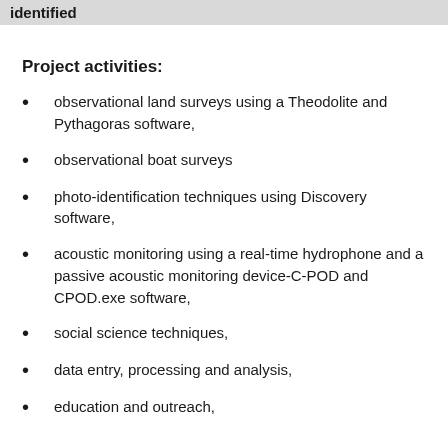identified
Project activities:
observational land surveys using a Theodolite and Pythagoras software,
observational boat surveys
photo-identification techniques using Discovery software,
acoustic monitoring using a real-time hydrophone and a passive acoustic monitoring device-C-POD and          CPOD.exe software,
social science techniques,
data entry, processing and analysis,
education and outreach,